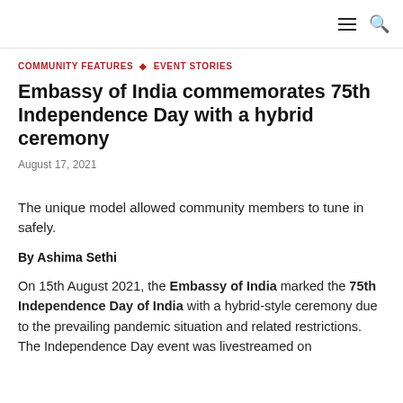☰ 🔍
COMMUNITY FEATURES ◇ EVENT STORIES
Embassy of India commemorates 75th Independence Day with a hybrid ceremony
August 17, 2021
The unique model allowed community members to tune in safely.
By Ashima Sethi
On 15th August 2021, the Embassy of India marked the 75th Independence Day of India with a hybrid-style ceremony due to the prevailing pandemic situation and related restrictions. The Independence Day event was livestreamed on